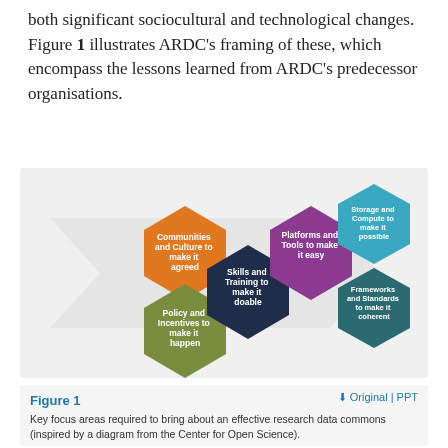both significant sociocultural and technological changes. Figure 1 illustrates ARDC's framing of these, which encompass the lessons learned from ARDC's predecessor organisations.
[Figure (infographic): Hexagonal infographic showing six key focus areas for an effective research data commons: Communities and Culture to make it agreed (orange), Policy and Incentives to make it happen (olive/green), Skills and Training to make it doable (dark navy), Platforms and Tools to make it easy (purple), Storage and Compute to make it possible (teal/blue), Frameworks and Standards to make it coherent (dark teal). Arranged in a honeycomb pattern on a light grey background with a large pale arrow shape pointing right.]
Figure 1
Key focus areas required to bring about an effective research data commons (inspired by a diagram from the Center for Open Science).